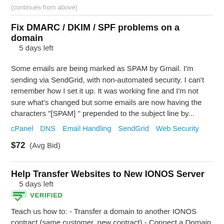(continues from above)
Fix DMARC / DKIM / SPF problems on a domain  5 days left
Some emails are being marked as SPAM by Gmail. I'm sending via SendGrid, with non-automated security. I can't remember how I set it up. It was working fine and I'm not sure what's changed but some emails are now having the characters "[SPAM] " prepended to the subject line by...
cPanel  DNS  Email Handling  SendGrid  Web Security
$72  (Avg Bid)
Help Transfer Websites to New IONOS Server  5 days left  VERIFIED
Teach us how to: - Transfer a domain to another IONOS contract (same customer, new contract) - Connect a Domain to a Webspace Directory - Set up an SSL